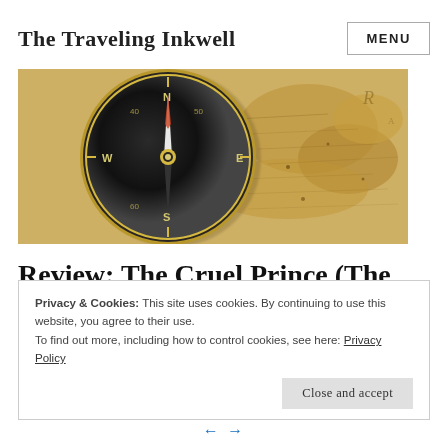The Traveling Inkwell
[Figure (photo): A vintage compass resting on an old sepia-toned map]
Review: The Cruel Prince (The
Privacy & Cookies: This site uses cookies. By continuing to use this website, you agree to their use.
To find out more, including how to control cookies, see here: Privacy Policy